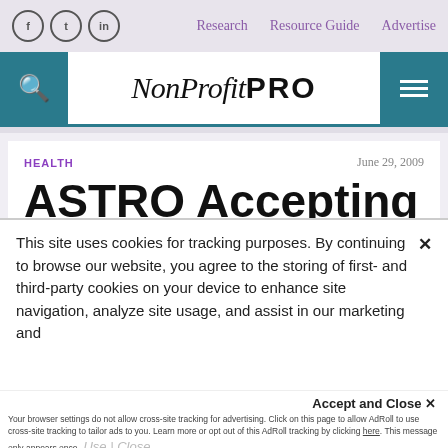Research  Resource Guide  Advertise
[Figure (logo): NonProfit PRO logo with search and menu icons]
HEALTH   June 29, 2009
ASTRO Accepting
This site uses cookies for tracking purposes. By continuing to browse our website, you agree to the storing of first- and third-party cookies on your device to enhance site navigation, analyze site usage, and assist in our marketing and
Accept and Close ✕
Your browser settings do not allow cross-site tracking for advertising. Click on this page to allow AdRoll to use cross-site tracking to tailor ads to you. Learn more or opt out of this AdRoll tracking by clicking here. This message only appears once.
Use | Close